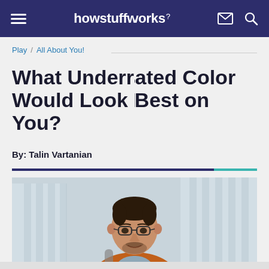howstuffworks
Play / All About You!
What Underrated Color Would Look Best on You?
By: Talin Vartanian
[Figure (photo): Young man with glasses, short dark hair and beard, wearing an orange jacket and backpack, standing outdoors in front of a modern glass building with blurred background]